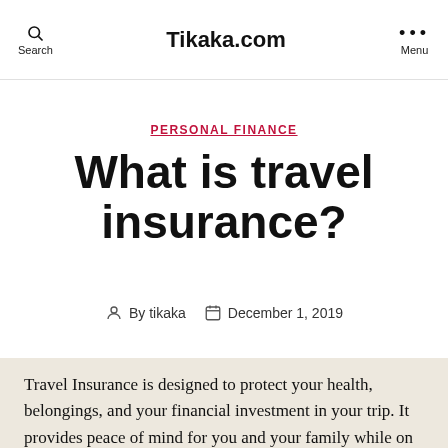Search  Tikaka.com  Menu
PERSONAL FINANCE
What is travel insurance?
By tikaka  December 1, 2019
Travel Insurance is designed to protect your health, belongings, and your financial investment in your trip. It provides peace of mind for you and your family while on